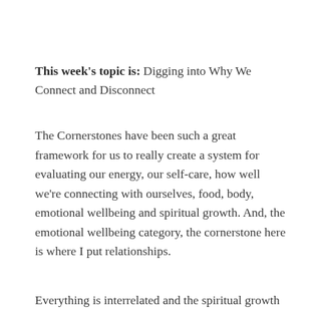This week's topic is: Digging into Why We Connect and Disconnect
The Cornerstones have been such a great framework for us to really create a system for evaluating our energy, our self-care, how well we're connecting with ourselves, food, body, emotional wellbeing and spiritual growth. And, the emotional wellbeing category, the cornerstone here is where I put relationships.
Everything is interrelated and the spiritual growth part of us is also part of relationships, because the